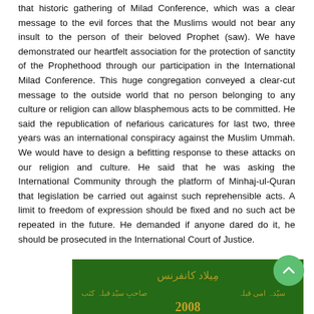that historic gathering of Milad Conference, which was a clear message to the evil forces that the Muslims would not bear any insult to the person of their beloved Prophet (saw). We have demonstrated our heartfelt association for the protection of sanctity of the Prophethood through our participation in the International Milad Conference. This huge congregation conveyed a clear-cut message to the outside world that no person belonging to any culture or religion can allow blasphemous acts to be committed. He said the republication of nefarious caricatures for last two, three years was an international conspiracy against the Muslim Ummah. We would have to design a befitting response to these attacks on our religion and culture. He said that he was asking the International Community through the platform of Minhaj-ul-Quran that legislation be carried out against such reprehensible acts. A limit to freedom of expression should be fixed and no such act be repeated in the future. He demanded if anyone dared do it, he should be prosecuted in the International Court of Justice.
[Figure (photo): A photograph showing a green banner/stage backdrop with Urdu text in golden color and the year 2008 displayed. Appears to be from a Milad Conference event in 2008.]